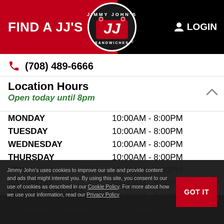FIND A JJ'S   LOGIN
(708) 489-6666
Location Hours
Open today until 8pm
| Day | Hours |
| --- | --- |
| MONDAY | 10:00AM - 8:00PM |
| TUESDAY | 10:00AM - 8:00PM |
| WEDNESDAY | 10:00AM - 8:00PM |
| THURSDAY | 10:00AM - 8:00PM |
| FRIDAY | 10:00AM - 8:00PM |
| SATURDAY | 10:00AM - 8:00PM |
| SUNDAY | 10:00AM - 7:00PM |
Delivery Hours
Delivering today until 8pm
Jimmy John's uses cookies to improve our site and provide content and ads that might interest you. By using this site, you consent to our use of cookies as described in our Cookie Policy. For more about how we use your information, read our Privacy Policy